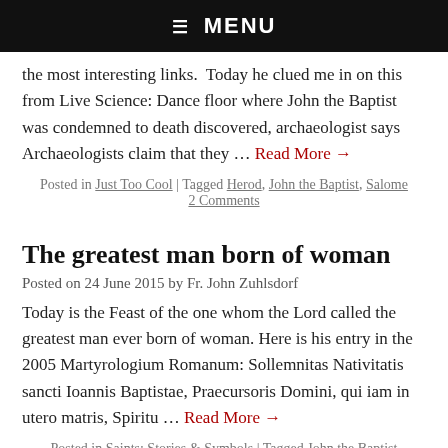☰ MENU
the most interesting links.  Today he clued me in on this from Live Science: Dance floor where John the Baptist was condemned to death discovered, archaeologist says Archaeologists claim that they … Read More →
Posted in Just Too Cool | Tagged Herod, John the Baptist, Salome 2 Comments
The greatest man born of woman
Posted on 24 June 2015 by Fr. John Zuhlsdorf
Today is the Feast of the one whom the Lord called the greatest man ever born of woman. Here is his entry in the 2005 Martyrologium Romanum: Sollemnitas Nativitatis sancti Ioannis Baptistae, Praecursoris Domini, qui iam in utero matris, Spiritu … Read More →
Posted in Saints: Stories & Symbols | Tagged John the Baptist